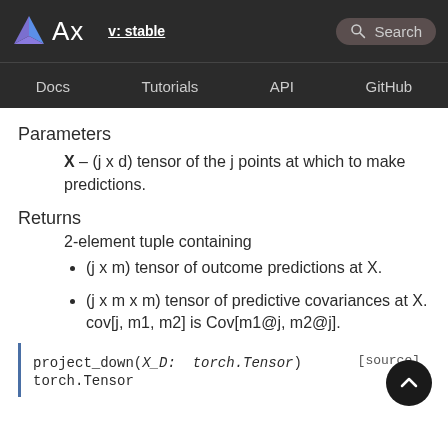Ax  v: stable  Search  Docs  Tutorials  API  GitHub
Parameters
X – (j x d) tensor of the j points at which to make predictions.
Returns
2-element tuple containing
(j x m) tensor of outcome predictions at X.
(j x m x m) tensor of predictive covariances at X. cov[j, m1, m2] is Cov[m1@j, m2@j].
project_down(X_D: torch.Tensor) → torch.Tensor [source]